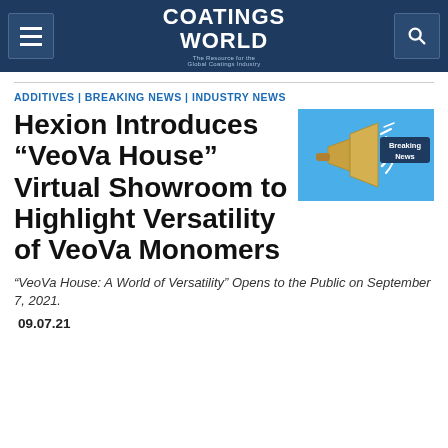Coatings World — The Resource for the Global Coatings Industry
ADDITIVES | BREAKING NEWS | INDUSTRY NEWS
[Figure (illustration): Breaking News graphic: megaphone on blue background with 'Breaking News' text]
Hexion Introduces “VeoVa House” Virtual Showroom to Highlight Versatility of VeoVa Monomers
“VeoVa House: A World of Versatility” Opens to the Public on September 7, 2021.
09.07.21